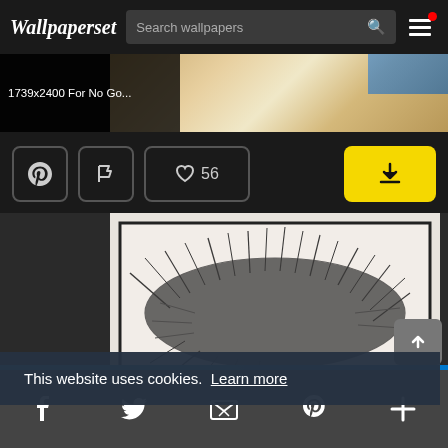Wallpaperset   Search wallpapers
[Figure (screenshot): Thumbnail strip showing a wallpaper image preview with text '1739x2400 For No Go...' overlaid on left side]
[Figure (screenshot): Action buttons row: Pinterest icon, flag icon, heart with 56 likes, and a yellow download button on the right]
[Figure (photo): Main wallpaper image showing a charcoal or pencil drawing of dark feathery/spiky texture on white paper, with an orange/red element at bottom, on dark background]
This website uses cookies.  Learn more
f  (twitter bird)  (email)  p  +